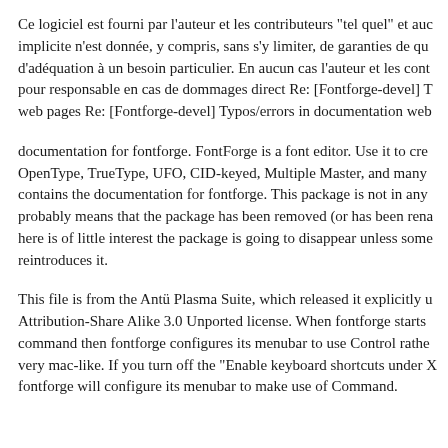Ce logiciel est fourni par l'auteur et les contributeurs "tel quel" et auc implicite n'est donnée, y compris, sans s'y limiter, de garanties de qu d'adéquation à un besoin particulier. En aucun cas l'auteur et les cont pour responsable en cas de dommages direct Re: [Fontforge-devel] T web pages Re: [Fontforge-devel] Typos/errors in documentation web
documentation for fontforge. FontForge is a font editor. Use it to cre OpenType, TrueType, UFO, CID-keyed, Multiple Master, and many contains the documentation for fontforge. This package is not in any probably means that the package has been removed (or has been rena here is of little interest the package is going to disappear unless some reintroduces it.
This file is from the Antü Plasma Suite, which released it explicitly u Attribution-Share Alike 3.0 Unported license. When fontforge starts command then fontforge configures its menubar to use Control rathe very mac-like. If you turn off the "Enable keyboard shortcuts under X fontforge will configure its menubar to make use of Command.